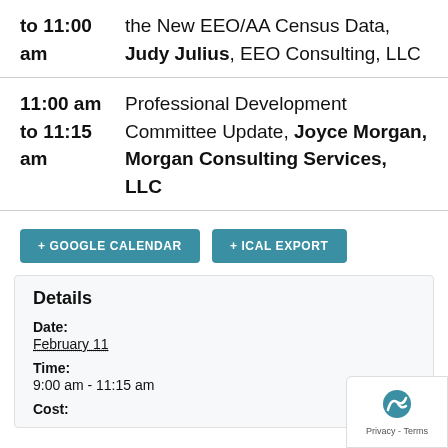to 11:00 am — the New EEO/AA Census Data, Judy Julius, EEO Consulting, LLC
11:00 am to 11:15 am — Professional Development Committee Update, Joyce Morgan, Morgan Consulting Services, LLC
+ GOOGLE CALENDAR
+ ICAL EXPORT
Details
Date: February 11
Time: 9:00 am - 11:15 am
Cost: